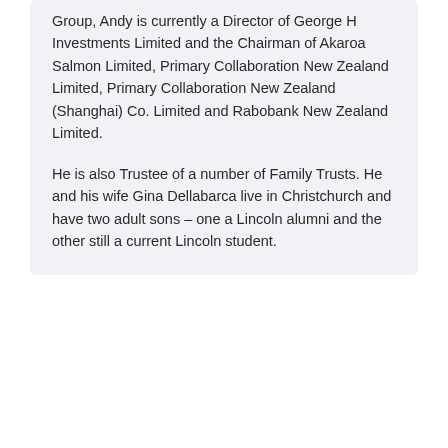Group, Andy is currently a Director of George H Investments Limited and the Chairman of Akaroa Salmon Limited, Primary Collaboration New Zealand Limited, Primary Collaboration New Zealand (Shanghai) Co. Limited and Rabobank New Zealand Limited.
He is also Trustee of a number of Family Trusts. He and his wife Gina Dellabarca live in Christchurch and have two adult sons – one a Lincoln alumni and the other still a current Lincoln student.